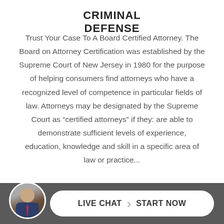CRIMINAL DEFENSE
Trust Your Case To A Board Certified Attorney. The Board on Attorney Certification was established by the Supreme Court of New Jersey in 1980 for the purpose of helping consumers find attorneys who have a recognized level of competence in particular fields of law. Attorneys may be designated by the Supreme Court as “certified attorneys” if they: are able to demonstrate sufficient levels of experience, education, knowledge and skill in a specific area of law or prac...
[Figure (photo): Circular avatar photo of a man in a suit with a tie, partially visible at the bottom-left of the chat bar]
LIVE CHAT › START NOW